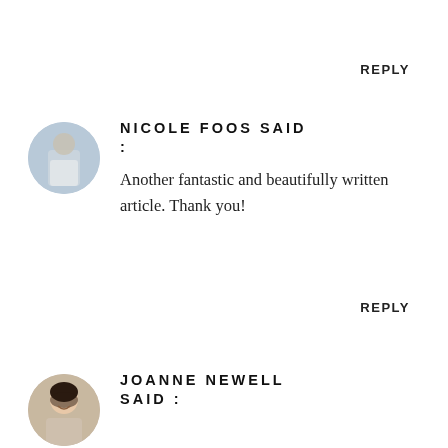REPLY
NICOLE FOOS SAID :
[Figure (photo): Circular avatar photo of Nicole Foos]
Another fantastic and beautifully written article. Thank you!
REPLY
[Figure (photo): Circular avatar photo of Joanne Newell]
JOANNE NEWELL SAID :